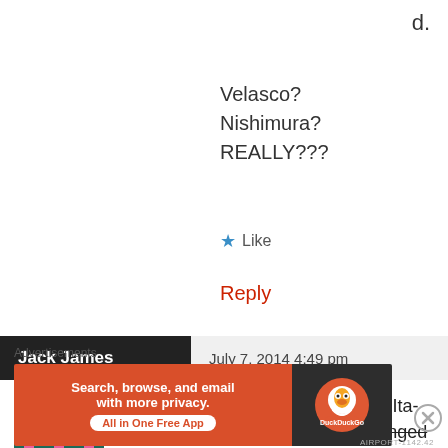d.
Velasco?
Nishimura?
REALLY???
★ Like
Reply
Jack James   July 7, 2014 4:49 pm
[Figure (illustration): Pixel art avatar of a pink robot/space invader on dark teal background]
I don't think he did very well in the Ita-Uru at all! He single handedly changed the outcome of the game!
Advertisements
[Figure (screenshot): DuckDuckGo advertisement banner: orange left panel 'Search, browse, and email with more privacy. All in One Free App' and dark right panel with DuckDuckGo logo]